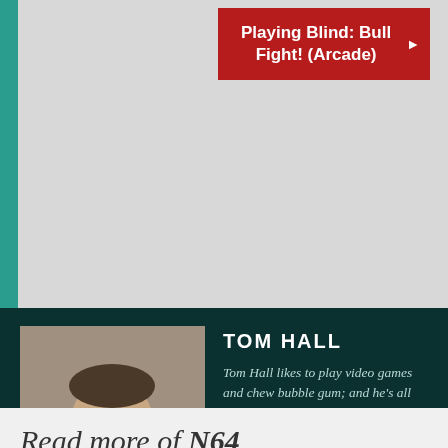[Figure (other): Red button/banner with text 'Playing Blind: Bull Fight! (Arcade)' with a right-pointing arrow on a gray background]
[Figure (photo): Profile photo of Tom Hall, a man in a blue shirt with arms crossed, on a dark teal background]
TOM HALL
Tom Hall likes to play video games and chew bubble gum; and he's all out of gum. You can follow him on Twitter @OcarinaOfTom.
See all posts by Tom Hall
Read more of N64